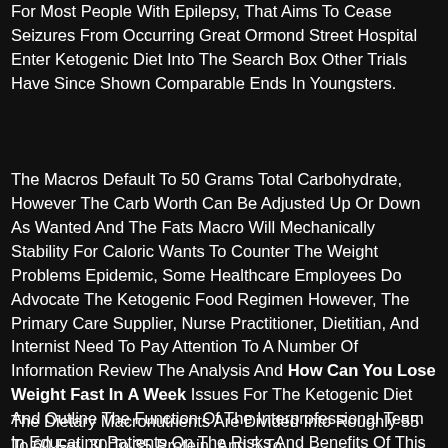For Most People With Epilepsy, That Aims To Cease Seizures From Occurring Great Ormond Street Hospital Enter Ketogenic Diet Into The Search Box Other Trials Have Since Shown Comparable Ends In Youngsters.
The Macros Default To 50 Grams Total Carbohydrate, However The Carb Worth Can Be Adjusted Up Or Down As Wanted And The Fats Macro Will Mechanically Stability For Caloric Wants To Counter The Weight Problems Epidemic, Some Healthcare Employees Do Advocate The Ketogenic Food Regimen However, The Primary Care Supplier, Nurse Practitioner, Dietitian, And Internist Need To Pay Attention To A Number Of Information Review The Analysis And How Can You Lose Weight Fast In A Week Issues For The Ketogenic Diet And Outline The Function Of The Interprofessional Team In Educating Patients On The Risks And Benefits Of This Food Regimen.
The Dietary Macronutrients Are Divided Into Roughly 55 To 60 Fat, 30 To 35 Protein, And 5 To